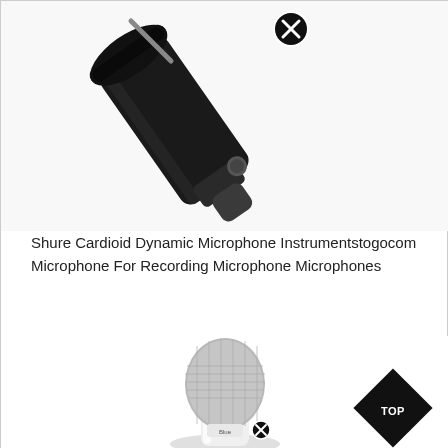[Figure (photo): Close-up photo of a Shure cardioid dynamic microphone (black) mounted at an angle, showing the foam-covered capsule end and metal yoke mount with a circled X icon visible on the yoke.]
Shure Cardioid Dynamic Microphone Instrumentstogocom Microphone For Recording Microphone Microphones
[Figure (photo): Photo of a white Blue Yeti USB microphone with a silver mesh capsule grille, showing the base with a circled X icon, and a black diamond-shaped badge in the lower right corner with the text 'TOP'.]